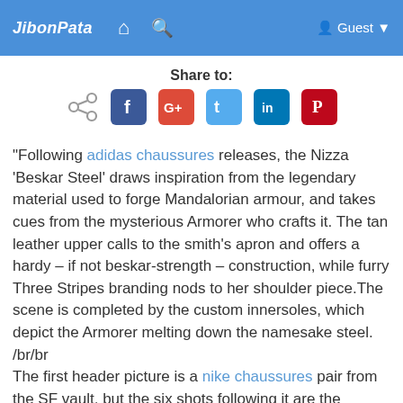JibonPata  [home icon]  [search icon]  [user icon] Guest
Share to:
[Figure (infographic): Social share icons: generic share, Facebook, Google+, Twitter, LinkedIn, Pinterest]
"Following adidas chaussures releases, the Nizza 'Beskar Steel' draws inspiration from the legendary material used to forge Mandalorian armour, and takes cues from the mysterious Armorer who crafts it. The tan leather upper calls to the smith's apron and offers a hardy – if not beskar-strength – construction, while furry Three Stripes branding nods to her shoulder piece.The scene is completed by the custom innersoles, which depict the Armorer melting down the namesake steel. /br/br The first header picture is a nike chaussures pair from the SF vault, but the six shots following it are the upcoming colourways. And the details seem to